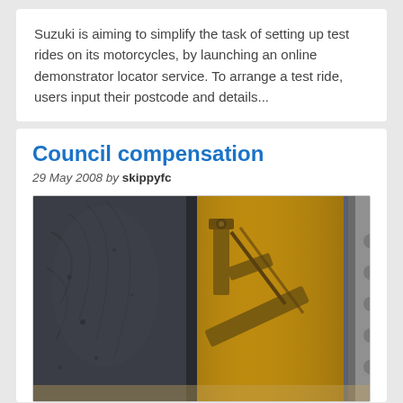Suzuki is aiming to simplify the task of setting up test rides on its motorcycles, by launching an online demonstrator locator service. To arrange a test ride, users input their postcode and details...
Council compensation
29 May 2008 by skippyfc
[Figure (photo): Close-up photo of a motorcycle wheel showing a dark grey tire on the left and a gold/yellow colored wheel rim and rear suspension linkage on the right, with a grey perforated swingarm visible on the far right.]